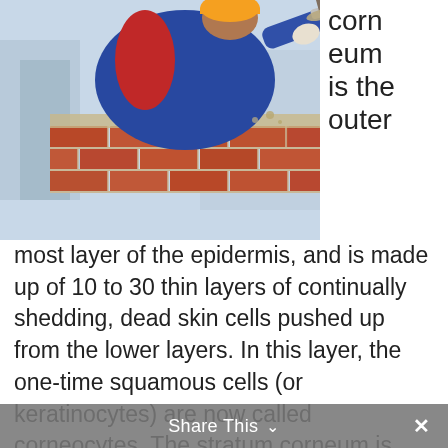[Figure (photo): A construction worker in a blue and red jacket laying bricks, photographed from above, with a trowel and mortar visible, and buildings in the blurred background.]
corneum is the outermost layer of the epidermis, and is made up of 10 to 30 thin layers of continually shedding, dead skin cells pushed up from the lower layers. In this layer, the one-time squamous cells (or keratinocytes) are now called corneocytes. The stratum corneum is also known as the “horny layer” because its cells are toughened like an animal’s horn. As the outermost cells age and wear down, they are replaced by new layers of strong, long-wearing cells. The stratum corneum is sloughed off continually as new cells take its
Share This ⌄ ×